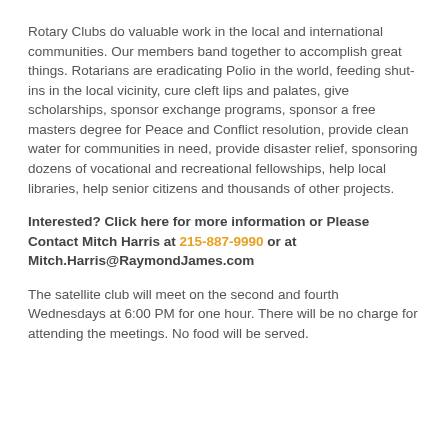Rotary Clubs do valuable work in the local and international communities.  Our members band together to accomplish great things.  Rotarians  are eradicating Polio in the world, feeding shut-ins in the local vicinity, cure cleft lips and palates, give scholarships, sponsor exchange programs, sponsor a free masters degree for Peace and Conflict resolution, provide clean water for communities in need, provide disaster relief, sponsoring dozens of vocational and recreational fellowships,  help local libraries, help senior citizens and thousands of other projects.
Interested? Click here for more information or Please Contact Mitch Harris  at 215-887-9990 or at Mitch.Harris@RaymondJames.com
The satellite club will meet on the second and fourth Wednesdays at 6:00 PM for one hour.  There will be no charge for attending the meetings.  No food will be served.